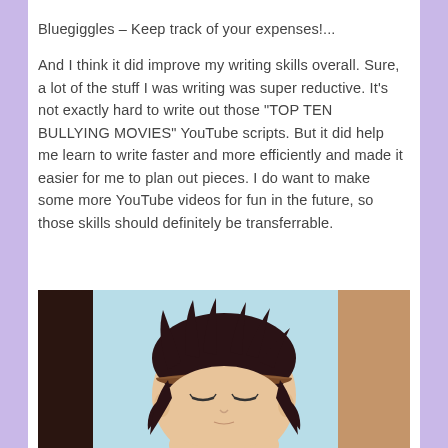Bluegiggles – Keep track of your expenses!...
And I think it did improve my writing skills overall. Sure, a lot of the stuff I was writing was super reductive. It’s not exactly hard to write out those “TOP TEN BULLYING MOVIES” YouTube scripts. But it did help me learn to write faster and more efficiently and made it easier for me to plan out pieces. I do want to make some more YouTube videos for fun in the future, so those skills should definitely be transferrable.
[Figure (illustration): Anime character with dark brown hair and a brown headband, eyes closed, shown from above against a light blue background. The character appears to be a young male anime-style figure.]